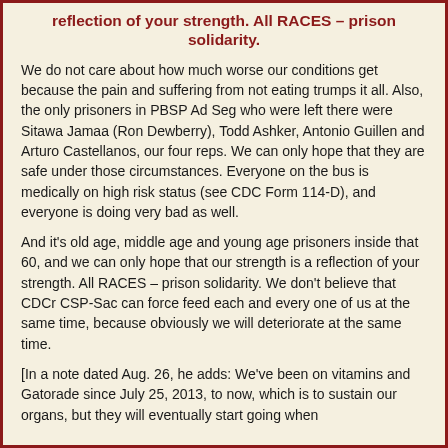reflection of your strength. All RACES – prison solidarity.
We do not care about how much worse our conditions get because the pain and suffering from not eating trumps it all. Also, the only prisoners in PBSP Ad Seg who were left there were Sitawa Jamaa (Ron Dewberry), Todd Ashker, Antonio Guillen and Arturo Castellanos, our four reps. We can only hope that they are safe under those circumstances. Everyone on the bus is medically on high risk status (see CDC Form 114-D), and everyone is doing very bad as well.
And it's old age, middle age and young age prisoners inside that 60, and we can only hope that our strength is a reflection of your strength. All RACES – prison solidarity. We don't believe that CDCr CSP-Sac can force feed each and every one of us at the same time, because obviously we will deteriorate at the same time.
[In a note dated Aug. 26, he adds: We've been on vitamins and Gatorade since July 25, 2013, to now, which is to sustain our organs, but they will eventually start going when